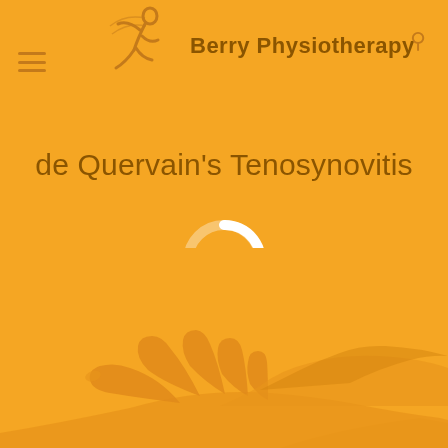[Figure (logo): Berry Physiotherapy logo with running figure icon and brand name]
de Quervain's Tenosynovitis
[Figure (other): Loading spinner circle icon (white circle outline on orange background)]
[Figure (photo): Orange-tinted illustration of two hands, one resting on the other, showing wrist and thumb area relevant to de Quervain's Tenosynovitis]